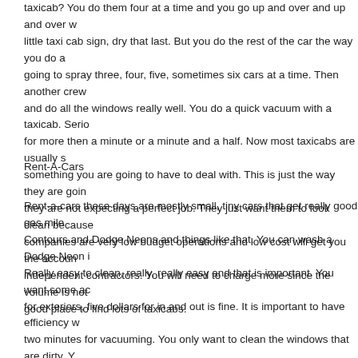taxicab? You do them four at a time and you go up and over and up and over with the little taxi cab sign, dry that last. But you do the rest of the car the way you do a going to spray three, four, five, sometimes six cars at a time. Then another crew and do all the windows really well. You do a quick vacuum with a taxicab. Serio for more then a minute or a minute and a half. Now most taxicabs are usually s something you are going to have to deal with. This is just the way they are goin they are not expecting a perfect job. They just want them to look clean because companies are very low budget operations and low cost will get you the accoun independent contractors. You will need to charge more since the volume is not good place to find lots of taxicabs.
Rent-A-Cars
Rent-a-cars these days are mostly small, tiny cars that get really good gas mile Contours and Dodge Neons and things like that. You can wash a Dodge Neon Really easy to clean, really, really easy and that is important. You want some a for exteriors, five dollars for in and out is fine. It is important to have efficiency w two minutes for vacuuming. You only want to clean the windows that are dirty. Y windows on a rent-a-car, just where you see fingerprints. You want to wipe off t center console and use cleaner on the sticky stuff. Hit the inside windows that a them five, six at a time and you want to dry them off real fast, make sure the wi Rent-a-cars are really good money. You want to charge an extra two dollars for cleaner or advanced carpet stain remover, some kind of a little carpet brush an